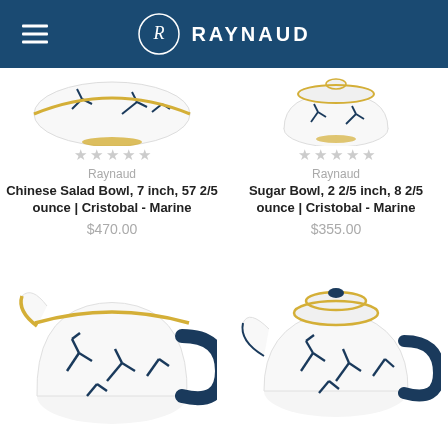RAYNAUD
[Figure (photo): Chinese Salad Bowl with blue coral pattern and gold rim, Cristobal Marine collection by Raynaud]
[Figure (photo): Sugar Bowl with blue coral pattern and gold rim, Cristobal Marine collection by Raynaud]
Raynaud
Chinese Salad Bowl, 7 inch, 57 2/5 ounce | Cristobal - Marine
$470.00
Raynaud
Sugar Bowl, 2 2/5 inch, 8 2/5 ounce | Cristobal - Marine
$355.00
[Figure (photo): Creamer/milk jug with blue coral pattern and gold rim, Cristobal Marine collection by Raynaud]
[Figure (photo): Teapot with blue coral pattern, gold rim lid, and dark blue handle, Cristobal Marine collection by Raynaud]